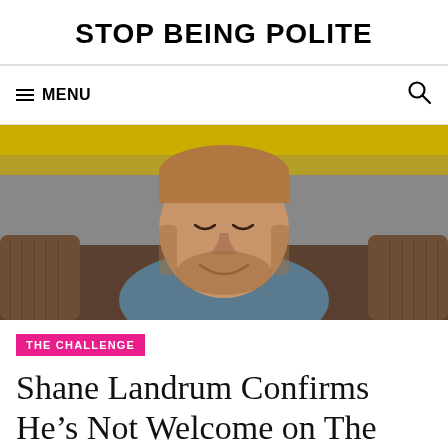STOP BEING POLITE
≡ MENU
[Figure (photo): A man with a beard, eyes slightly closed, smiling and reclining on a brown corduroy couch with a yellow wall in the background.]
THE CHALLENGE
Shane Landrum Confirms He's Not Welcome on The Challenge Until He